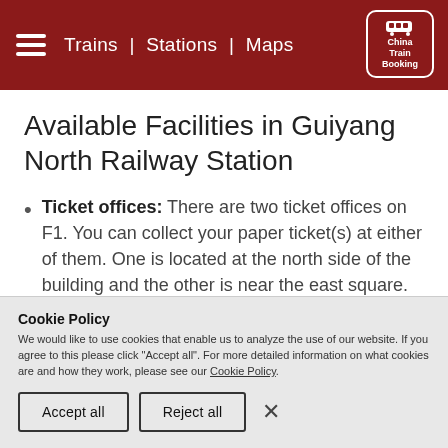Trains | Stations | Maps — China Train Booking
Available Facilities in Guiyang North Railway Station
Ticket offices: There are two ticket offices on F1. You can collect your paper ticket(s) at either of them. One is located at the north side of the building and the other is near the east square.
Cookie Policy
We would like to use cookies that enable us to analyze the use of our website. If you agree to this please click "Accept all". For more detailed information on what cookies are and how they work, please see our Cookie Policy.